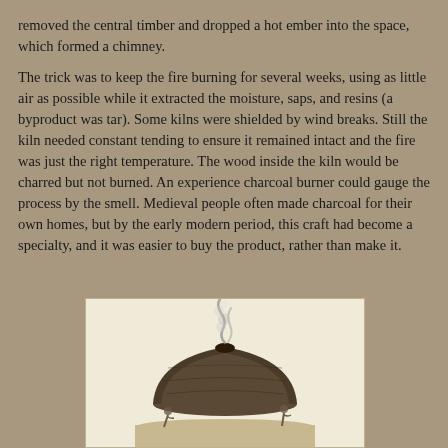removed the central timber and dropped a hot ember into the space, which formed a chimney.
The trick was to keep the fire burning for several weeks, using as little air as possible while it extracted the moisture, saps, and resins (a byproduct was tar). Some kilns were shielded by wind breaks. Still the kiln needed constant tending to ensure it remained intact and the fire was just the right temperature. The wood inside the kiln would be charred but not burned. An experience charcoal burner could gauge the process by the smell. Medieval people often made charcoal for their own homes, but by the early modern period, this craft had become a specialty, and it was easier to buy the product, rather than make it.
[Figure (illustration): Historical illustration of a charcoal kiln, a dome-shaped mound with smoke rising from the top, with small figures nearby]